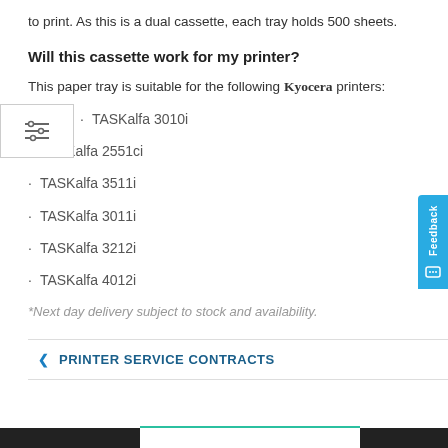to print. As this is a dual cassette, each tray holds 500 sheets.
Will this cassette work for my printer?
This paper tray is suitable for the following Kyocera printers:
TASKalfa 3010i
TASKalfa 2551ci
TASKalfa 3511i
TASKalfa 3011i
TASKalfa 3212i
TASKalfa 4012i
*Next day delivery subject to stock and availability.
PRINTER SERVICE CONTRACTS